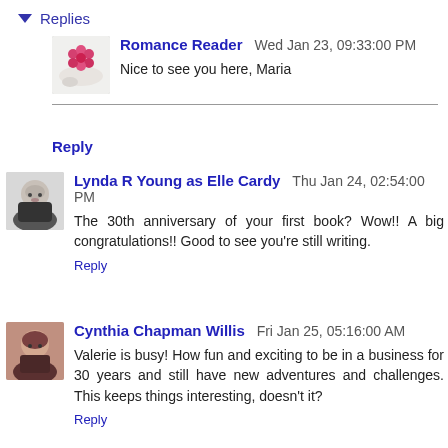▼ Replies
Romance Reader   Wed Jan 23, 09:33:00 PM
Nice to see you here, Maria
Reply
Lynda R Young as Elle Cardy   Thu Jan 24, 02:54:00 PM
The 30th anniversary of your first book? Wow!! A big congratulations!! Good to see you're still writing.
Reply
Cynthia Chapman Willis   Fri Jan 25, 05:16:00 AM
Valerie is busy! How fun and exciting to be in a business for 30 years and still have new adventures and challenges. This keeps things interesting, doesn't it?
Reply